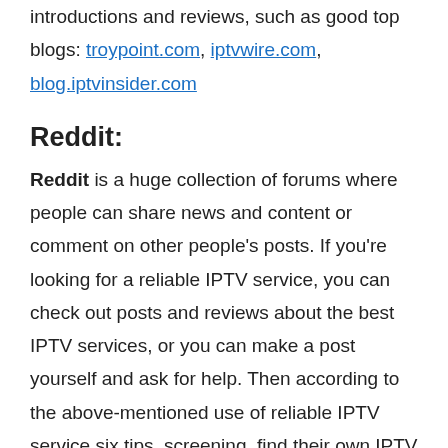introductions and reviews, such as good top blogs: troypoint.com, iptvwire.com, blog.iptvinsider.com
Reddit:
Reddit is a huge collection of forums where people can share news and content or comment on other people's posts. If you're looking for a reliable IPTV service, you can check out posts and reviews about the best IPTV services, or you can make a post yourself and ask for help. Then according to the above-mentioned use of reliable IPTV service six tips, screening, find their own IPTV service
Reviews the YouTube:
YouTube is a video-sharing service where users can watch, like, share, comment on and upload their videos. So if you're looking for the most reliable IPTV service, you can search for it on YouTube,